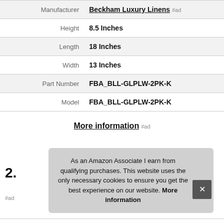| Attribute | Value |
| --- | --- |
| Manufacturer | Beckham Luxury Linens #ad |
| Height | 8.5 Inches |
| Length | 18 Inches |
| Width | 13 Inches |
| Part Number | FBA_BLL-GLPLW-2PK-K |
| Model | FBA_BLL-GLPLW-2PK-K |
More information #ad
2.
As an Amazon Associate I earn from qualifying purchases. This website uses the only necessary cookies to ensure you get the best experience on our website. More information